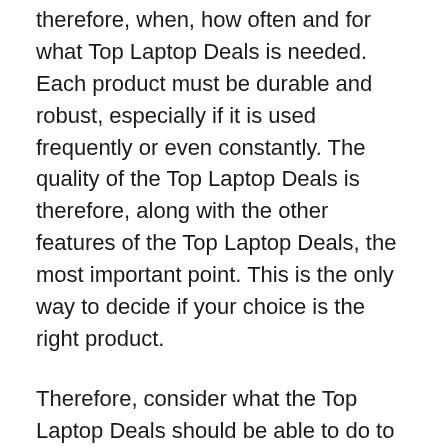therefore, when, how often and for what Top Laptop Deals is needed. Each product must be durable and robust, especially if it is used frequently or even constantly. The quality of the Top Laptop Deals is therefore, along with the other features of the Top Laptop Deals, the most important point. This is the only way to decide if your choice is the right product.
Therefore, consider what the Top Laptop Deals should be able to do to meet your needs before looking through the entire selection of the Top Laptop Deals comparison. The brands, sizes and adjustments, as well as the areas of application provided, facilitate the selection. You should think about it from the beginning: